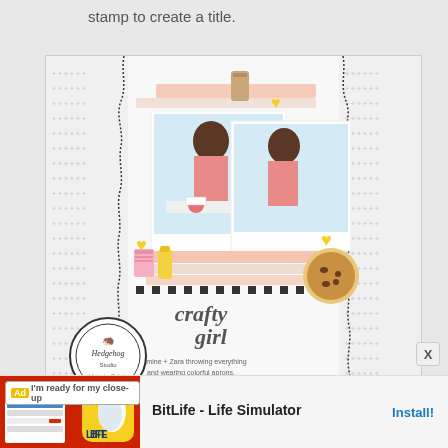stamp to create a title.
[Figure (photo): A scrapbook layout featuring a young woman in a kitchen, decorated with colorful embellishments, stickers, washi tape, patterned paper borders with wavy edges, and handwritten-style text reading 'crafty girl'. A circular Hedgehog Studio stamp with Victoria Calvin's name is in the bottom left corner.]
[Figure (screenshot): Advertisement for BitLife - Life Simulator app with red background and BitLife logo, with an Install button.]